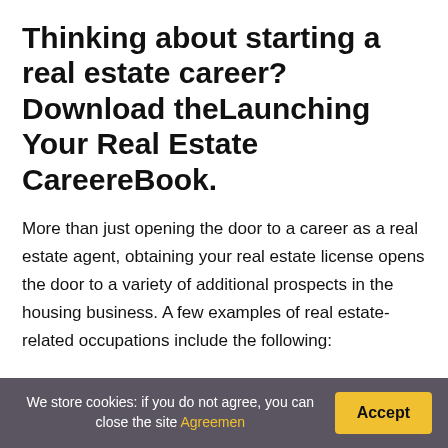Thinking about starting a real estate career? Download theLaunching Your Real Estate CareereBook.
More than just opening the door to a career as a real estate agent, obtaining your real estate license opens the door to a variety of additional prospects in the housing business. A few examples of real estate-related occupations include the following:
The role of a real estate broker is to supervise a group of real estate agents. Appraiser: A person
We store cookies: if you do not agree, you can close the site Agreemen